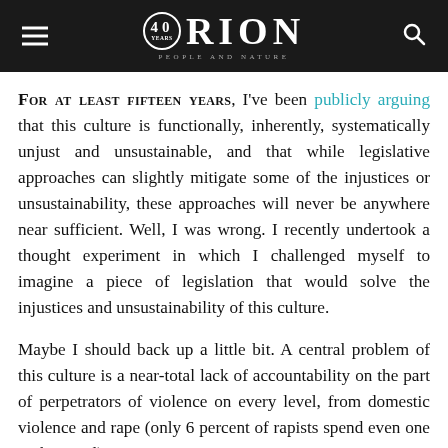ORION — People and Nature (40 years)
FOR AT LEAST FIFTEEN YEARS, I've been publicly arguing that this culture is functionally, inherently, systematically unjust and unsustainable, and that while legislative approaches can slightly mitigate some of the injustices or unsustainability, these approaches will never be anywhere near sufficient. Well, I was wrong. I recently undertook a thought experiment in which I challenged myself to imagine a piece of legislation that would solve the injustices and unsustainability of this culture.
Maybe I should back up a little bit. A central problem of this culture is a near-total lack of accountability on the part of perpetrators of violence on every level, from domestic violence and rape (only 6 percent of rapists spend even one night in jail) to government-